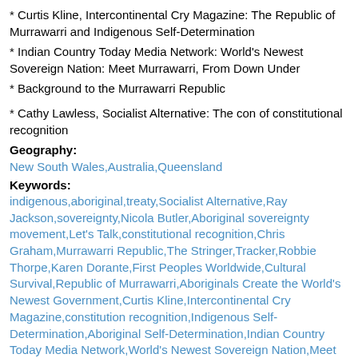* Curtis Kline, Intercontinental Cry Magazine: The Republic of Murrawarri and Indigenous Self-Determination
* Indian Country Today Media Network: World's Newest Sovereign Nation: Meet Murrawarri, From Down Under
* Background to the Murrawarri Republic
* Cathy Lawless, Socialist Alternative: The con of constitutional recognition
Geography:
New South Wales,Australia,Queensland
Keywords:
indigenous,aboriginal,treaty,Socialist Alternative,Ray Jackson,sovereignty,Nicola Butler,Aboriginal sovereignty movement,Let's Talk,constitutional recognition,Chris Graham,Murrawarri Republic,The Stringer,Tracker,Robbie Thorpe,Karen Dorante,First Peoples Worldwide,Cultural Survival,Republic of Murrawarri,Aboriginals Create the World's Newest Government,Curtis Kline,Intercontinental Cry Magazine,constitution recognition,Indigenous Self-Determination,Aboriginal Self-Determination,Indian Country Today Media Network,World's Newest Sovereign Nation,Meet Murrawarri - From Down Under,Cathy Lawless,Crikey,Constitutional Recognition of Aboriginal & Torres Strait Islander Peoples,new